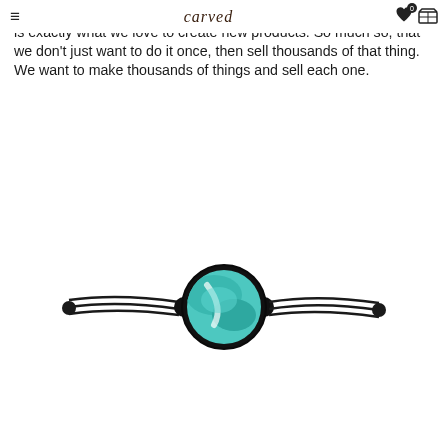≡  carved  ♥0  🛒
photograph each piece of art we make. What you see on website is exactly what we love to create new products. So much so, that we don't just want to do it once, then sell thousands of that thing. We want to make thousands of things and sell each one.
[Figure (photo): A black cord bracelet with a circular turquoise/teal colored art inlay medallion center piece, on a white background.]